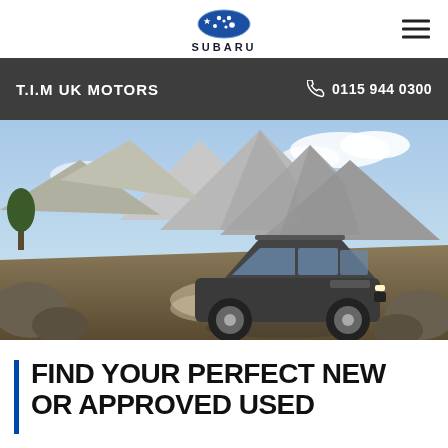SUBARU
T.I.M UK MOTORS  0115 944 0300
[Figure (photo): A Subaru Forester SUV driving on a rocky mountain trail, kicking up dust, with dramatic mountain peaks and blue sky in the background.]
FIND YOUR PERFECT NEW OR APPROVED USED